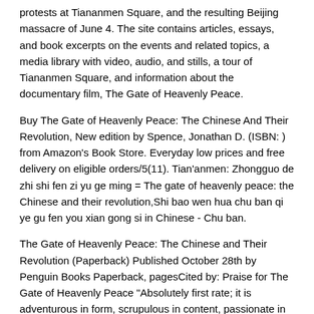protests at Tiananmen Square, and the resulting Beijing massacre of June 4. The site contains articles, essays, and book excerpts on the events and related topics, a media library with video, audio, and stills, a tour of Tiananmen Square, and information about the documentary film, The Gate of Heavenly Peace.
Buy The Gate of Heavenly Peace: The Chinese And Their Revolution, New edition by Spence, Jonathan D. (ISBN: ) from Amazon's Book Store. Everyday low prices and free delivery on eligible orders/5(11). Tian'anmen: Zhongguo de zhi shi fen zi yu ge ming = The gate of heavenly peace: the Chinese and their revolution,Shi bao wen hua chu ban qi ye gu fen you xian gong si in Chinese - Chu ban.
The Gate of Heavenly Peace: The Chinese and Their Revolution (Paperback) Published October 28th by Penguin Books Paperback, pagesCited by: Praise for The Gate of Heavenly Peace "Absolutely first rate; it is adventurous in form, scrupulous in content, passionate in its revelation of complex human drama."--Saturday Review " [Jonathan Spence] has woven a magical symphony that tells us as no conventional history could of the agony of a nation in awesome